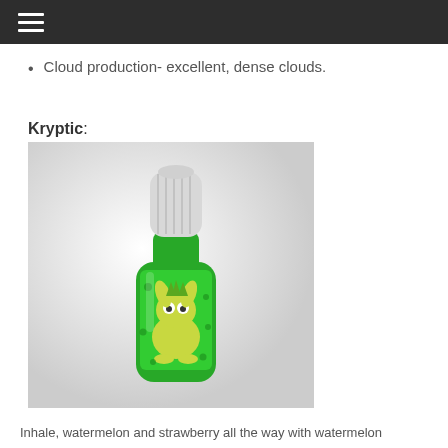☰
Cloud production- excellent, dense clouds.
Kryptic:
[Figure (photo): A green dropper bottle with a cartoon character label. The bottle has a white ribbed dropper cap. The label features a yellow-green creature/monster character on a bright green background with dark spots.]
Inhale, watermelon and strawberry all the way with watermelon